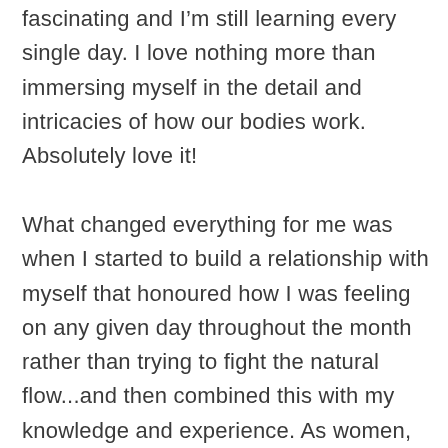fascinating and I'm still learning every single day. I love nothing more than immersing myself in the detail and intricacies of how our bodies work. Absolutely love it!

What changed everything for me was when I started to build a relationship with myself that honoured how I was feeling on any given day throughout the month rather than trying to fight the natural flow...and then combined this with my knowledge and experience. As women, we are very